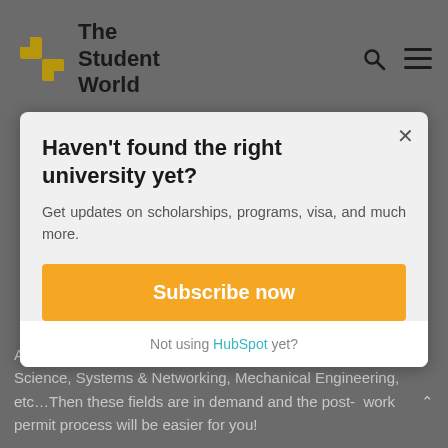The Student World
Haven't found the right university yet?
Get updates on scholarships, programs, visa, and much more.
Subscribe now
Not using HubSpot yet?
Agricultural Science, Biomedical Engineering, Computer Science, Systems & Networking, Mechanical Engineering, etc…Then these fields are in demand and the post-work permit process will be easier for you!